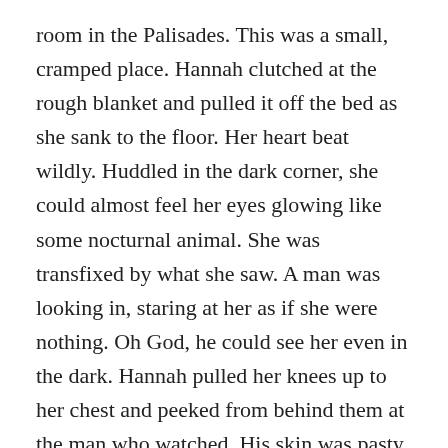room in the Palisades. This was a small, cramped place. Hannah clutched at the rough blanket and pulled it off the bed as she sank to the floor. Her heart beat wildly. Huddled in the dark corner, she could almost feel her eyes glowing like some nocturnal animal. She was transfixed by what she saw. A man was looking in, staring at her as if she were nothing. Oh God, he could see her even in the dark. Hannah pulled her knees up to her chest and peeked from behind them at the man who watched. His skin was pasty, his eyes plain. A red birthmark spilled across his right temple and half his eyelid until it seeped into the corner of his nose. He raised his stick, black and blunt, and tapped on the glass. He pointed toward the bed. She would do what he